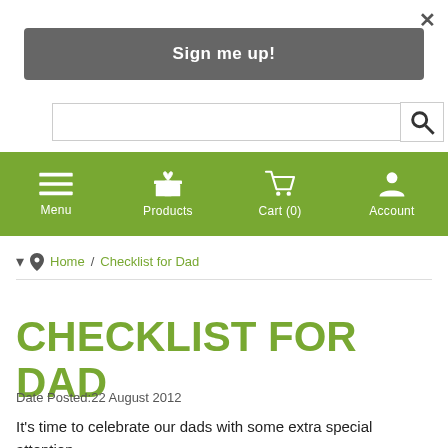×
Sign me up!
[Figure (screenshot): Search input bar with magnifying glass search button]
Menu  Products  Cart (0)  Account
Home / Checklist for Dad
CHECKLIST FOR DAD
Date Posted:22 August 2012
It's time to celebrate our dads with some extra special attention...